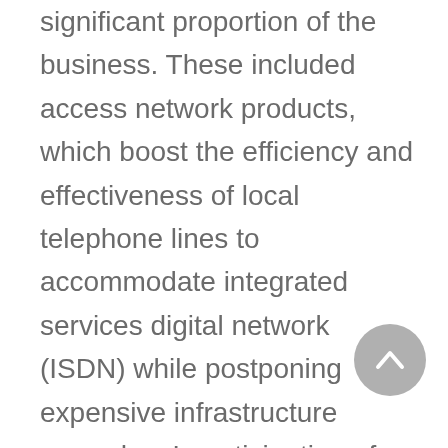significant proportion of the business. These included access network products, which boost the efficiency and effectiveness of local telephone lines to accommodate integrated services digital network (ISDN) while postponing expensive infrastructure upgrades. In anticipation of a global upgrade to fiber optic cable, ECI prepared an array of specialized equipment, including Syncom and wide area networking products. With a boost from its 1993 acquisition of